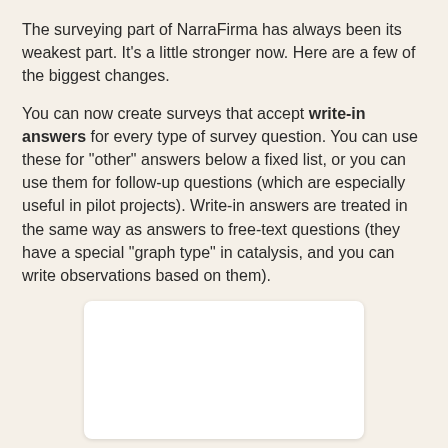The surveying part of NarraFirma has always been its weakest part. It's a little stronger now. Here are a few of the biggest changes.
You can now create surveys that accept write-in answers for every type of survey question. You can use these for "other" answers below a fixed list, or you can use them for follow-up questions (which are especially useful in pilot projects). Write-in answers are treated in the same way as answers to free-text questions (they have a special "graph type" in catalysis, and you can write observations based on them).
[Figure (other): White rounded rectangle placeholder image area]
You can now create multi-lingual surveys. Participants can choose a language at the start of the survey, and their choice is saved for graphing. You can enter and edit